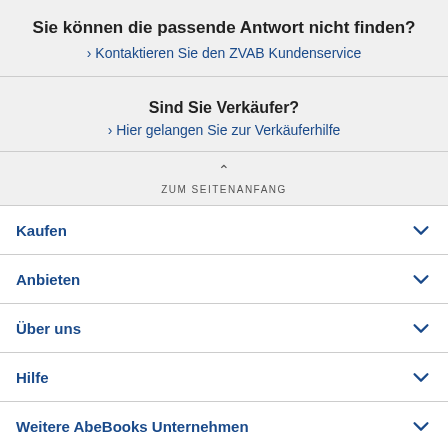Sie können die passende Antwort nicht finden?
› Kontaktieren Sie den ZVAB Kundenservice
Sind Sie Verkäufer?
› Hier gelangen Sie zur Verkäuferhilfe
ZUM SEITENANFANG
Kaufen
Anbieten
Über uns
Hilfe
Weitere AbeBooks Unternehmen
Dem ZVAB folgen